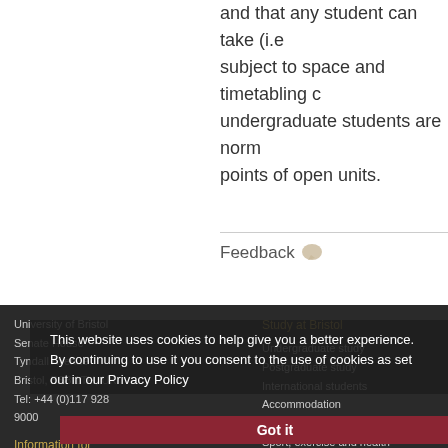and that any student can take (i.e. subject to space and timetabling c undergraduate students are norm points of open units.
Feedback
University of Bristol
Senate House
Tyndall Avenue
Bristol, BS8 1TH, UK
Tel: +44 (0)117 928 9000
Information for
Current students
Study at Bristol
Undergraduate study
Postgraduate study
International students
Accommodation
Students' Union
Sport, exercise and health
Research
This website uses cookies to help give you a better experience. By continuing to use it you consent to the use of cookies as set out in our Privacy Policy
Got it